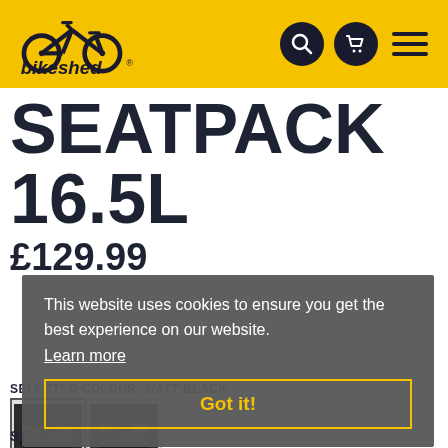[Figure (logo): Bikeshed logo — bicycle icon with 'bikeshed' text on yellow header bar]
SEATPACK 16.5L
£129.99
This website uses cookies to ensure you get the best experience on our website.
Learn more
Got it!
SELECTED COLOUR: MATT BLACK
[Figure (photo): Thumbnail of black seatpack product]
SELECT A SIZE: